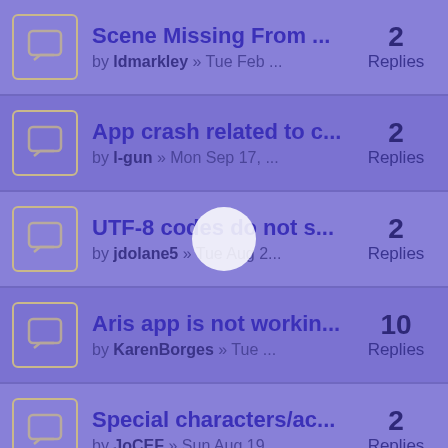Scene Missing From ... by ldmarkley » Tue Feb ... 2 Replies
App crash related to c... by l-gun » Mon Sep 17, ... 2 Replies
UTF-8 codes do not s... by jdolane5 » Tue Aug 2... 2 Replies
Aris app is not workin... by KarenBorges » Tue ... 10 Replies
Special characters/ac... by JoCEF » Sun Aug 19, ... 2 Replies
App crash on convers... by ldmarkley » Tue Jul ... 1 Replies